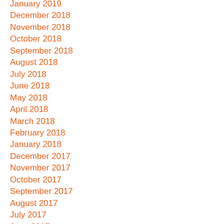January 2019
December 2018
November 2018
October 2018
September 2018
August 2018
July 2018
June 2018
May 2018
April 2018
March 2018
February 2018
January 2018
December 2017
November 2017
October 2017
September 2017
August 2017
July 2017
June 2017